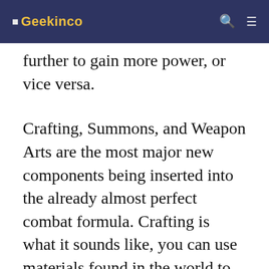🎮 Geekinco
further to gain more power, or vice versa.
Crafting, Summons, and Weapon Arts are the most major new components being inserted into the already almost perfect combat formula. Crafting is what it sounds like, you can use materials found in the world to quickly produce items like a throwable dagger, bomb, or antidote without having to backtrack towards merchants all the time. The latter two are more impactful.